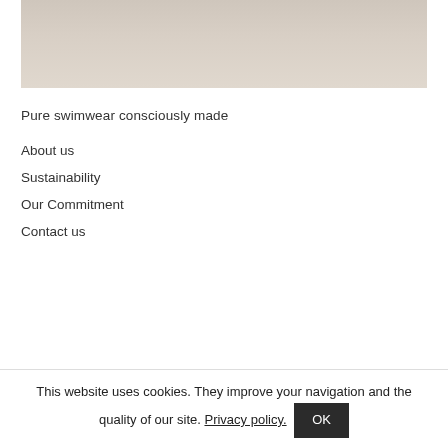[Figure (photo): Partial photo of a light-colored object on a wood surface, cropped at top of page]
Pure swimwear consciously made
About us
Sustainability
Our Commitment
Contact us
This website uses cookies. They improve your navigation and the quality of our site. Privacy policy. OK